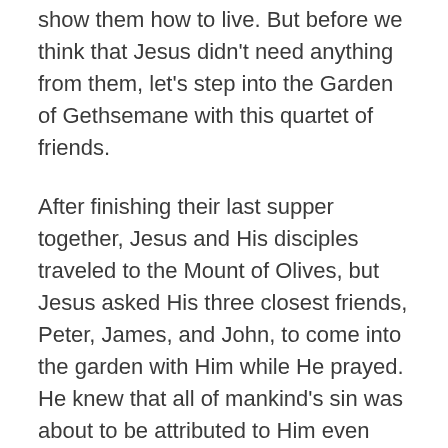show them how to live. But before we think that Jesus didn't need anything from them, let's step into the Garden of Gethsemane with this quartet of friends.
After finishing their last supper together, Jesus and His disciples traveled to the Mount of Olives, but Jesus asked His three closest friends, Peter, James, and John, to come into the garden with Him while He prayed. He knew that all of mankind's sin was about to be attributed to Him even though He had never sinned. He would be the One to pay for the sins of those who put their faith in Him.
Though this had been the plan from the